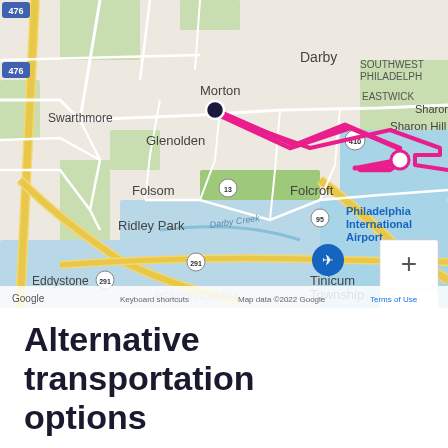[Figure (map): Google Maps screenshot showing a route (magenta/pink line) from Morton area to Philadelphia International Airport, passing through Glenolden and Sharon Hill. Landmarks visible: Swarthmore, Morton, Darby, Sharon Hill, Glenolden, Folsom, Folcroft, Ridley Park, Tinicum Township, Eddystone, Philadelphia International Airport, I-476, Route 13, Route 95, Route 291. Zoom controls (+/-) visible on right. Google logo and attribution bar at bottom.]
Alternative transportation options